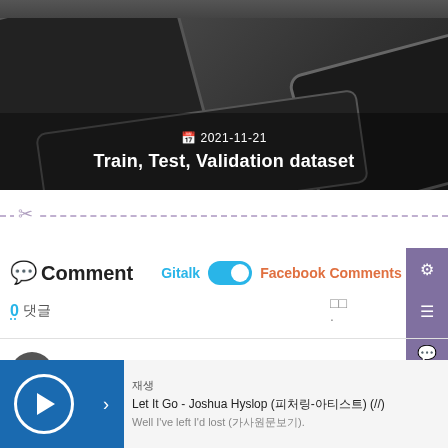[Figure (photo): Dark keyboard close-up hero image with date 2021-11-21 and title 'Train, Test, Validation dataset' overlaid]
2021-11-21
Train, Test, Validation dataset
Comment
Gitalk  Facebook Comments
0 댓글
재생
Let It Go - Joshua Hyslop (피처링-아티스트) (//)
Well I&apos;ve left I&apos;d lost (가사원문보기).